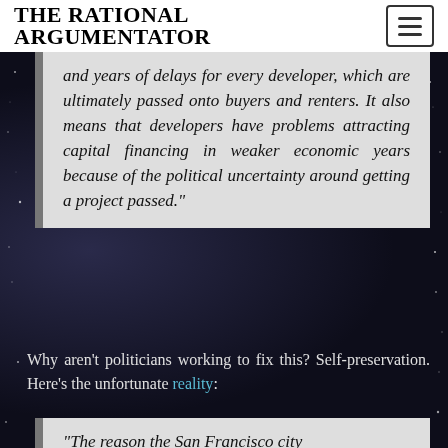THE RATIONAL ARGUMENTATOR
and years of delays for every developer, which are ultimately passed onto buyers and renters. It also means that developers have problems attracting capital financing in weaker economic years because of the political uncertainty around getting a project passed.”
Why aren’t politicians working to fix this? Self-preservation. Here’s the unfortunate reality:
“The reason the San Francisco city